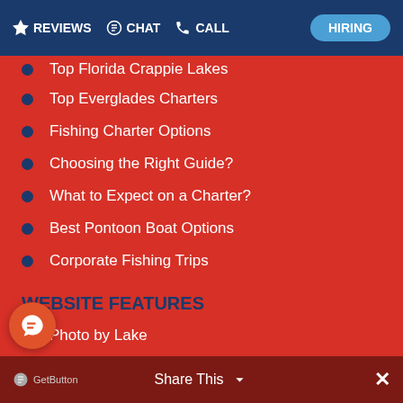REVIEWS  CHAT  CALL  HIRING
Top Florida Crappie Lakes
Top Everglades Charters
Fishing Charter Options
Choosing the Right Guide?
What to Expect on a Charter?
Best Pontoon Boat Options
Corporate Fishing Trips
WEBSITE FEATURES
Photo by Lake
Photos by Event
Charity Events
Photos of Wildlife
Fishing Videos
GetButton  Share This  ×